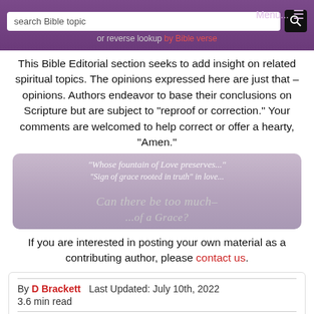search Bible topic | or reverse lookup by Bible verse | Menu...
This Bible Editorial section seeks to add insight on related spiritual topics. The opinions expressed here are just that – opinions. Authors endeavor to base their conclusions on Scripture but are subject to "reproof or correction." Your comments are welcomed to help correct or offer a hearty, "Amen."
[Figure (screenshot): Overlapping faded image panel showing Bible quotes and text including 'Whose fountain of Love...' and 'Sign of grace rooted in truth...' and 'Can there be too much...' with purple/grey background]
If you are interested in posting your own material as a contributing author, please contact us.
By D Brackett   Last Updated: July 10th, 2022
3.6 min read
read article →
The idea of "not enough" context is well